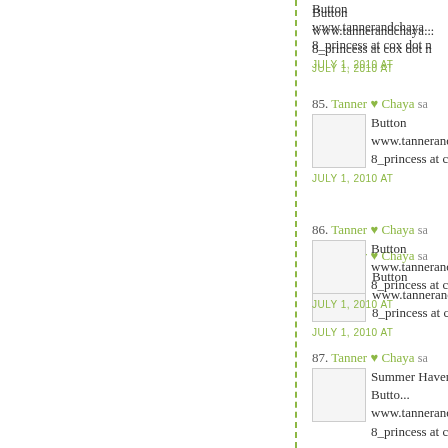Button www.tannerandchaya... 8_princess at cox dot n JULY 1, 2010 AT
85. Tanner ♥ Chaya says Button www.tannerandchaya... 8_princess at cox dot n JULY 1, 2010 AT
86. Tanner ♥ Chaya says Button www.tannerandchaya... 8_princess at cox dot n JULY 1, 2010 AT
87. Tanner ♥ Chaya says Summer Haven Button www.tannerandchaya... 8_princess at cox dot